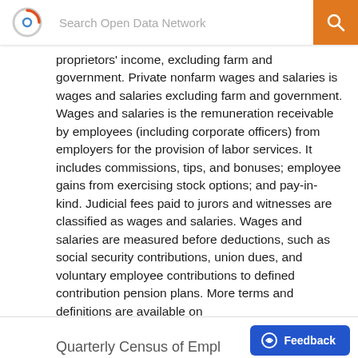Search Open Data Network
proprietors' income, excluding farm and government. Private nonfarm wages and salaries is wages and salaries excluding farm and government. Wages and salaries is the remuneration receivable by employees (including corporate officers) from employers for the provision of labor services. It includes commissions, tips, and bonuses; employee gains from exercising stock options; and pay-in-kind. Judicial fees paid to jurors and witnesses are classified as wages and salaries. Wages and salaries are measured before deductions, such as social security contributions, union dues, and voluntary employee contributions to defined contribution pension plans. More terms and definitions are available on https://apps.bea.gov/regional/definitions/.
Quarterly Census of Empl